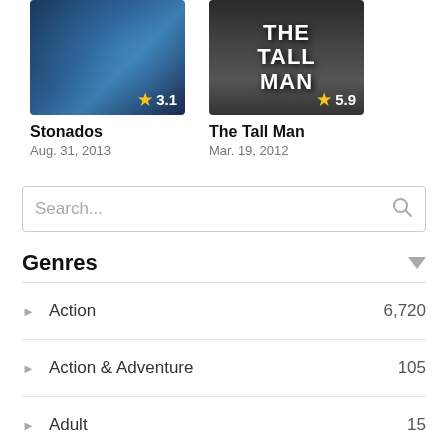[Figure (photo): Movie poster thumbnail for Stonados showing disaster scene with water and debris, rating badge 3.1 stars]
Stonados
Aug. 31, 2013
[Figure (photo): Movie poster thumbnail for The Tall Man showing a dark female figure with movie title text, rating badge 5.9 stars]
The Tall Man
Mar. 19, 2012
Search...
Genres
Action 6,720
Action & Adventure 105
Adult 15
Adventure 4,109